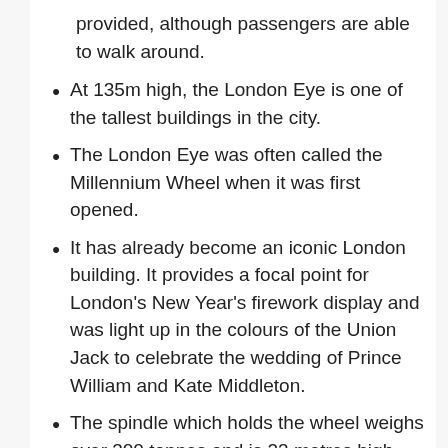provided, although passengers are able to walk around.
At 135m high, the London Eye is one of the tallest buildings in the city.
The London Eye was often called the Millennium Wheel when it was first opened.
It has already become an iconic London building. It provides a focal point for London’s New Year’s firework display and was light up in the colours of the Union Jack to celebrate the wedding of Prince William and Kate Middleton.
The spindle which holds the wheel weighs over 300 tonnes and is 23 metres high.
The London Eye is not the first big wheel [redacted]